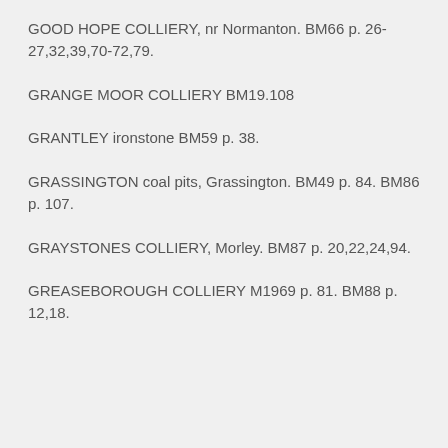GOOD HOPE COLLIERY, nr Normanton. BM66 p. 26-27,32,39,70-72,79.
GRANGE MOOR COLLIERY BM19.108
GRANTLEY ironstone BM59 p. 38.
GRASSINGTON coal pits, Grassington. BM49 p. 84. BM86 p. 107.
GRAYSTONES COLLIERY, Morley. BM87 p. 20,22,24,94.
GREASEBOROUGH COLLIERY M1969 p. 81. BM88 p. 12,18.